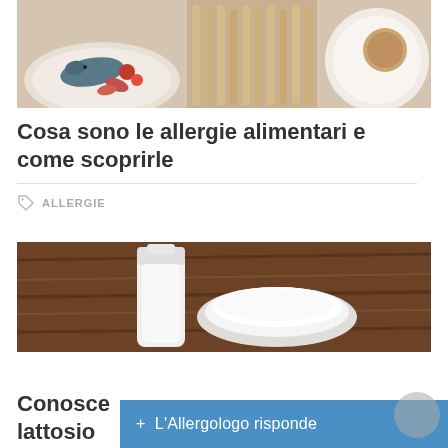[Figure (photo): Food items including fish, seafood, breadsticks, and other foods on plates and a wooden surface]
Cosa sono le allergie alimentari e come scoprirle
ALLERGIE
[Figure (photo): Glass milk jug and white bowl of cream or yogurt on a wooden table]
Conosce lattosio
+ L'Allergologo risponde